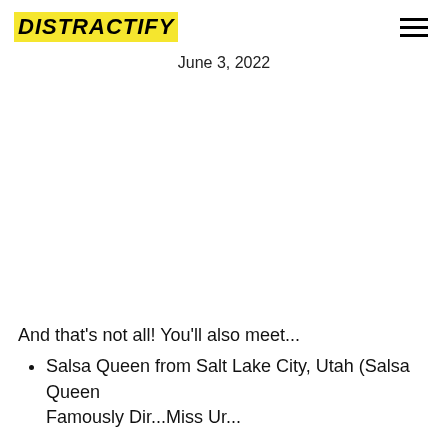DISTRACTIFY
June 3, 2022
And that’s not all! You'll also meet...
Salsa Queen from Salt Lake City, Utah (Salsa Queen Famously Dir...Miss Ur...)